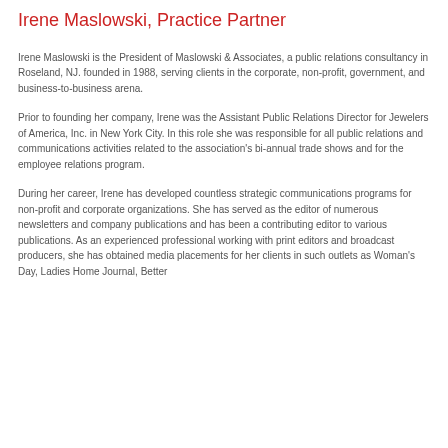Irene Maslowski, Practice Partner
Irene Maslowski is the President of Maslowski & Associates, a public relations consultancy in Roseland, NJ. founded in 1988, serving clients in the corporate, non-profit, government, and business-to-business arena.
Prior to founding her company, Irene was the Assistant Public Relations Director for Jewelers of America, Inc. in New York City. In this role she was responsible for all public relations and communications activities related to the association's bi-annual trade shows and for the employee relations program.
During her career, Irene has developed countless strategic communications programs for non-profit and corporate organizations. She has served as the editor of numerous newsletters and company publications and has been a contributing editor to various publications. As an experienced professional working with print editors and broadcast producers, she has obtained media placements for her clients in such outlets as Woman's Day, Ladies Home Journal, Better